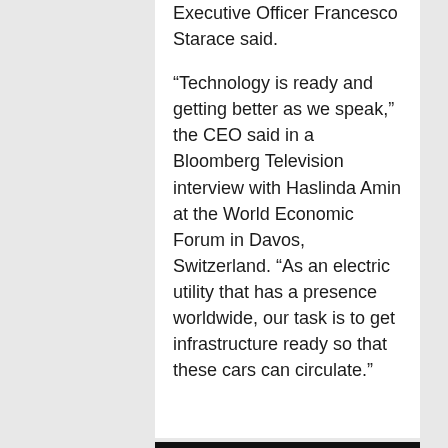Executive Officer Francesco Starace said.

“Technology is ready and getting better as we speak,” the CEO said in a Bloomberg Television interview with Haslinda Amin at the World Economic Forum in Davos, Switzerland. “As an electric utility that has a presence worldwide, our task is to get infrastructure ready so that these cars can circulate.”